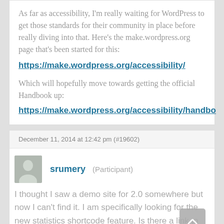As far as accessibility, I'm really waiting for WordPress to get those standards for their community in place before really diving into that. Here's the make.wordpress.org page that's been started for this:
https://make.wordpress.org/accessibility/
Which will hopefully move towards getting the official Handbook up:
https://make.wordpress.org/accessibility/handbo
December 11, 2014 at 12:42 pm (#19602)
srumery (Participant)
I thought I saw a demo site for 2.0 somewhere but now I can't find it. I am specifically looking for the new statistics shortcode feature. Is there a link to preview that somewhere?